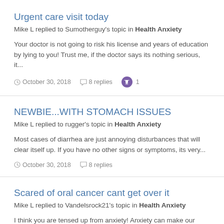Urgent care visit today
Mike L replied to Sumotherguy's topic in Health Anxiety
Your doctor is not going to risk his license and years of education by lying to you! Trust me, if the doctor says its nothing serious, it...
October 30, 2018  8 replies  1
NEWBIE...WITH STOMACH ISSUES
Mike L replied to rugger's topic in Health Anxiety
Most cases of diarrhea are just annoying disturbances that will clear itself up. If you have no other signs or symptoms, its very...
October 30, 2018  8 replies
Scared of oral cancer cant get over it
Mike L replied to Vandelsrock21's topic in Health Anxiety
I think you are tensed up from anxiety! Anxiety can make our bodies do all sorts of unpleasant things. Oral cancer is